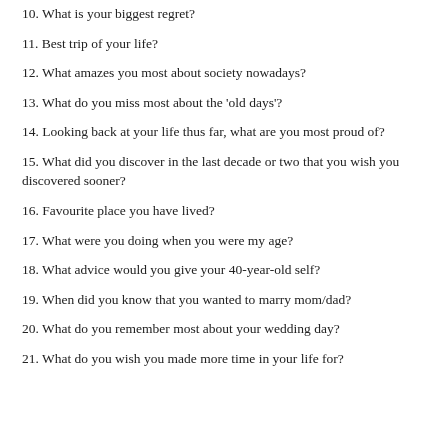10. What is your biggest regret?
11. Best trip of your life?
12. What amazes you most about society nowadays?
13. What do you miss most about the 'old days'?
14. Looking back at your life thus far, what are you most proud of?
15. What did you discover in the last decade or two that you wish you discovered sooner?
16. Favourite place you have lived?
17. What were you doing when you were my age?
18. What advice would you give your 40-year-old self?
19. When did you know that you wanted to marry mom/dad?
20. What do you remember most about your wedding day?
21. What do you wish you made more time in your life for?